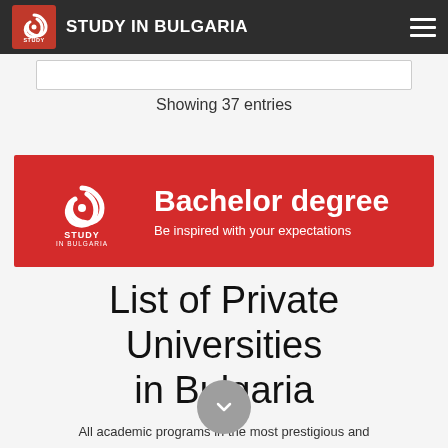STUDY IN BULGARIA
Showing 37 entries
[Figure (illustration): Red banner with Study in Bulgaria logo on the left and text 'Bachelor degree / Be inspired with your expectations' on the right]
List of Private Universities in Bulgaria
All academic programs in the most prestigious and